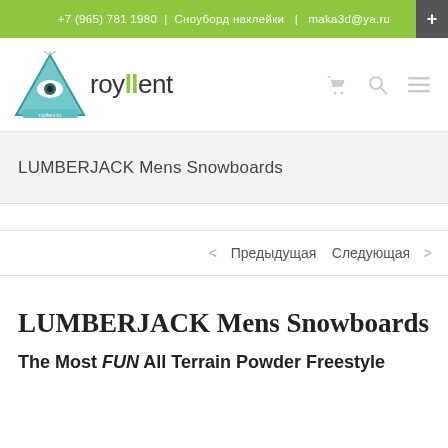+7 (965) 781 1980 | Сноуборд наклейки | maka3d@ya.ru
[Figure (logo): royllent.ru store stickers logo with illuminati eye triangle graphic and green text]
LUMBERJACK Mens Snowboards
< Предыдущая  Следующая >
LUMBERJACK Mens Snowboards
The Most FUN All Terrain Powder Freestyle